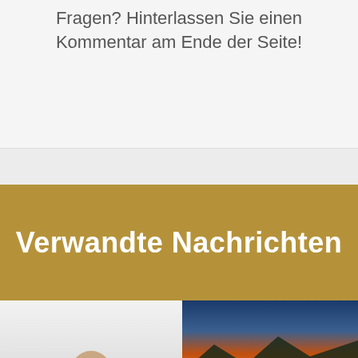Fragen? Hinterlassen Sie einen Kommentar am Ende der Seite!
Verwandte Nachrichten
[Figure (photo): Person wearing a VR headset against a light background, with a German flag badge overlay at the bottom left]
[Figure (photo): Person sitting at a trading desk with multiple monitors showing charts, with a dramatic sunset over water in the background]